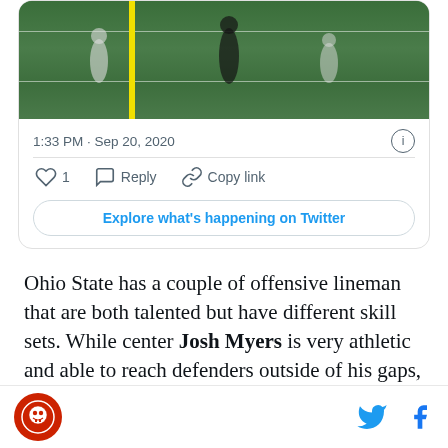[Figure (photo): A football field scene showing players and a referee near the yellow first-down marker pole, viewed from the sideline.]
1:33 PM · Sep 20, 2020
1  Reply  Copy link
Explore what's happening on Twitter
Ohio State has a couple of offensive lineman that are both talented but have different skill sets. While center Josh Myers is very athletic and able to reach defenders outside of his gaps, right guard Wyatt Davis is a pure mauler who wants to manhandle defenders.